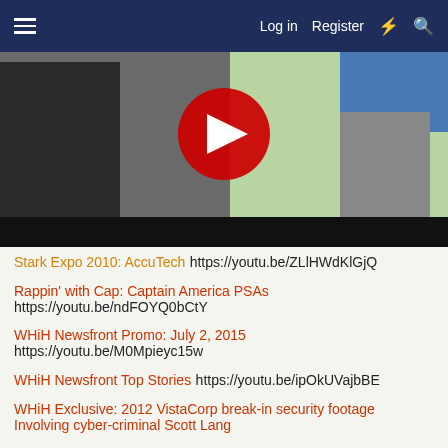Log in  Register
[Figure (screenshot): YouTube video thumbnail showing a dark-cloaked figure with a YouTube play button overlay]
Stark Expo 2010: AccuTech https://youtu.be/ZLlHWdKlGjQ
Rappin' with Cap: Captain America PSAs https://youtu.be/ndFOYQ0bCtY
WHiH Newsfront Promo: July 2, 2015 https://youtu.be/M0Mpieyc15w
WHiH Newsfront Top Stories https://youtu.be/ipOkUVajbBE
WHiH Exclusive: 2012 VistaCorp break-in security footage Involving cyber-criminal Scott Lang